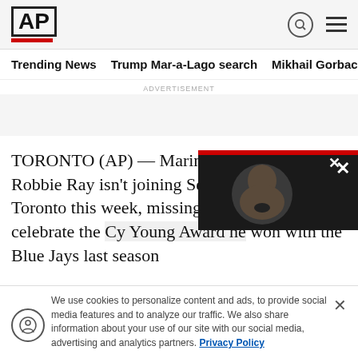AP
Trending News   Trump Mar-a-Lago search   Mikhail Gorbachev d
ADVERTISEMENT
TORONTO (AP) — Mariners left-hander Robbie Ray isn't joining Seattle for a series in Toronto this week, missing a chance to celebrate the Cy Young Award he won with the Blue Jays last season
We use cookies to personalize content and ads, to provide social media features and to analyze our traffic. We also share information about your use of our site with our social media, advertising and analytics partners. Privacy Policy